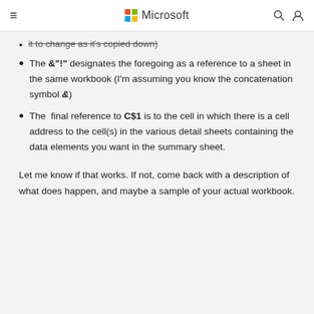Microsoft
it to change as it's copied down)
The &"!" designates the foregoing as a reference to a sheet in the same workbook (I'm assuming you know the concatenation symbol &)
The final reference to C$1 is to the cell in which there is a cell address to the cell(s) in the various detail sheets containing the data elements you want in the summary sheet.
Let me know if that works. If not, come back with a description of what does happen, and maybe a sample of your actual workbook.